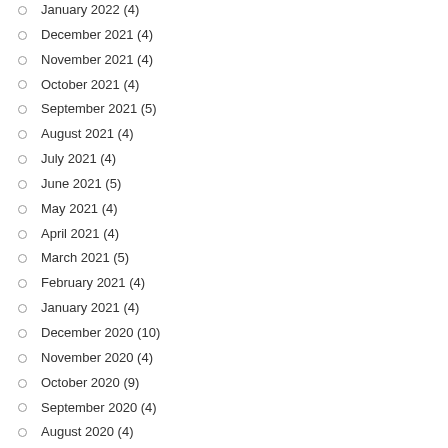January 2022 (4)
December 2021 (4)
November 2021 (4)
October 2021 (4)
September 2021 (5)
August 2021 (4)
July 2021 (4)
June 2021 (5)
May 2021 (4)
April 2021 (4)
March 2021 (5)
February 2021 (4)
January 2021 (4)
December 2020 (10)
November 2020 (4)
October 2020 (9)
September 2020 (4)
August 2020 (4)